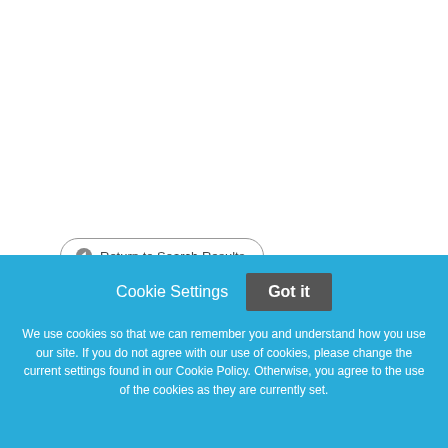Return to Search Results
Associate Dean of Nursing
Location: College-wide, based on the North Mankato campusFull/Part Time: Full TimeEmployment Condition:
Cookie Settings
Got it
We use cookies so that we can remember you and understand how you use our site. If you do not agree with our use of cookies, please change the current settings found in our Cookie Policy. Otherwise, you agree to the use of the cookies as they are currently set.